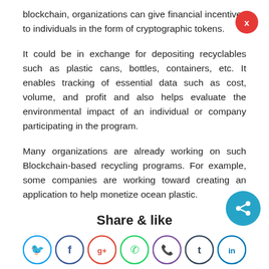blockchain, organizations can give financial incentives to individuals in the form of cryptographic tokens.
It could be in exchange for depositing recyclables such as plastic cans, bottles, containers, etc. It enables tracking of essential data such as cost, volume, and profit and also helps evaluate the environmental impact of an individual or company participating in the program.
Many organizations are already working on such Blockchain-based recycling programs. For example, some companies are working toward creating an application to help monetize ocean plastic.
Share & like
[Figure (other): Row of social media sharing icons: Twitter, Facebook, Google+, WhatsApp, Viber, Tumblr, LinkedIn]